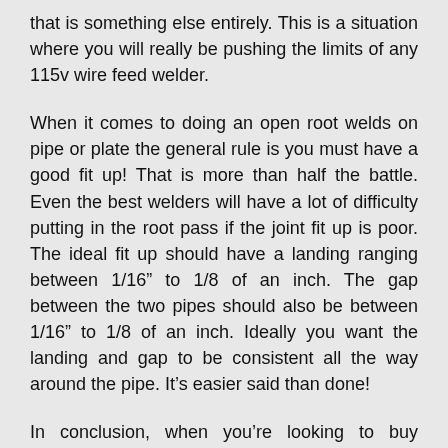that is something else entirely. This is a situation where you will really be pushing the limits of any 115v wire feed welder.
When it comes to doing an open root welds on pipe or plate the general rule is you must have a good fit up! That is more than half the battle. Even the best welders will have a lot of difficulty putting in the root pass if the joint fit up is poor. The ideal fit up should have a landing ranging between 1/16″ to 1/8 of an inch. The gap between the two pipes should also be between 1/16″ to 1/8 of an inch. Ideally you want the landing and gap to be consistent all the way around the pipe. It's easier said than done!
In conclusion, when you're looking to buy welding supplies you should always buy materials that will provide you with security, safety, and durability. Don't just buy something that's cheap because you want to save money, because in one year you'll be buying the same thing again. Think for the long-term, and by something that will last you at least 5